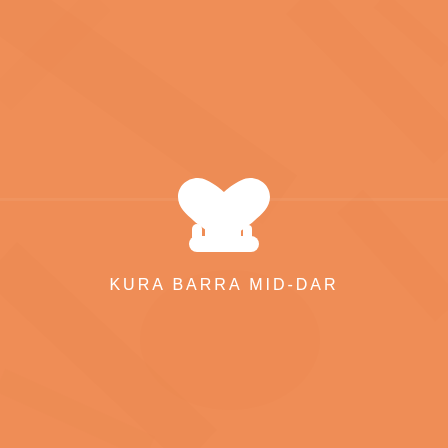[Figure (photo): Orange-tinted background image showing a person lying down (medical/care setting), with a horizontal divider creating two image sections. A white care/charity icon (heart above an open hand) is centered over the image.]
KURA BARRA MID-DAR